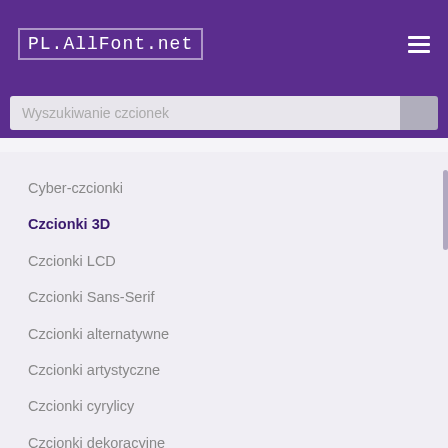PL.AllFont.net
Wyszukiwanie czcionek
Cyber-czcionki
Czcionki 3D
Czcionki LCD
Czcionki Sans-Serif
Czcionki alternatywne
Czcionki artystyczne
Czcionki cyrylicy
Czcionki dekoracyjne
Czcionki do graffiti
Czcionki do pisania listów
Czcionki do szablonów